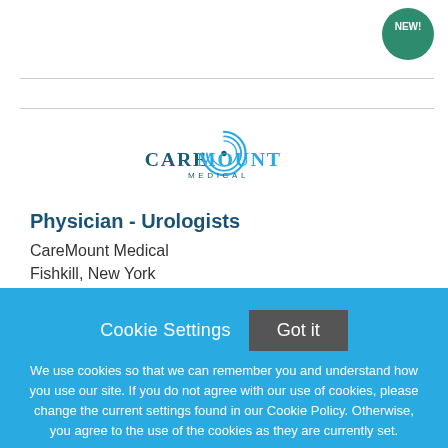[Figure (logo): CareMount Medical logo — circular concentric lines icon with 'CAREMOUNT MEDICAL' text in teal/navy]
Physician - Urologists
CareMount Medical
Fishkill, New York
Cookie Settings
Got it
We use cookies so that we can remember you and understand how you use our site. If you do not agree with our use of cookies, please change the current settings found in our Cookie Policy. Otherwise, you agree to the use of the cookies as they are currently set.